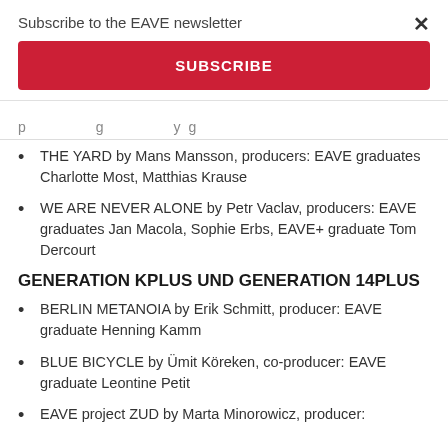Subscribe to the EAVE newsletter
SUBSCRIBE
×
THE YARD by Mans Mansson, producers: EAVE graduates Charlotte Most, Matthias Krause
WE ARE NEVER ALONE by Petr Vaclav, producers: EAVE graduates Jan Macola, Sophie Erbs, EAVE+ graduate Tom Dercourt
GENERATION KPLUS UND GENERATION 14PLUS
BERLIN METANOIA by Erik Schmitt, producer: EAVE graduate Henning Kamm
BLUE BICYCLE by Ümit Köreken, co-producer: EAVE graduate Leontine Petit
EAVE project ZUD by Marta Minorowicz, producer: